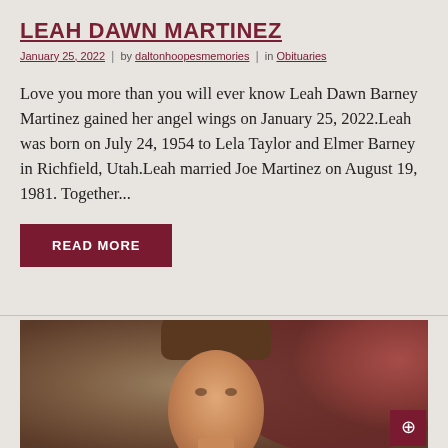LEAH DAWN MARTINEZ
January 25, 2022  |  by daltonhoopesmemories  |  in Obituaries
Love you more than you will ever know Leah Dawn Barney Martinez gained her angel wings on January 25, 2022.Leah was born on July 24, 1954 to Lela Taylor and Elmer Barney in Richfield, Utah.Leah married Joe Martinez on August 19, 1981. Together...
READ MORE
[Figure (photo): Portrait photo of a person with brown hair against a warm brown/red background, partially visible at bottom of page]